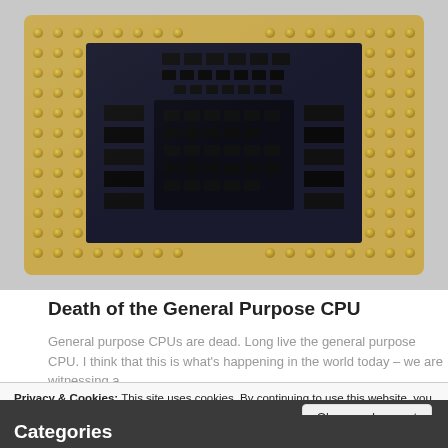[Figure (photo): Close-up macro photo of a CPU chip showing gold contact pins on a circuit board and dark processor components/chips on top]
Death of the General Purpose CPU
General purpose CPUs are dead. Long live the general purpose CPU. I think that this is what's happening in the world today – we are witnessing a
Privacy & Cookies: This site uses cookies. By continuing to use this website, you agree to their use.
To find out more, including how to control cookies, see here: Cookie Policy
Close and accept
Categories